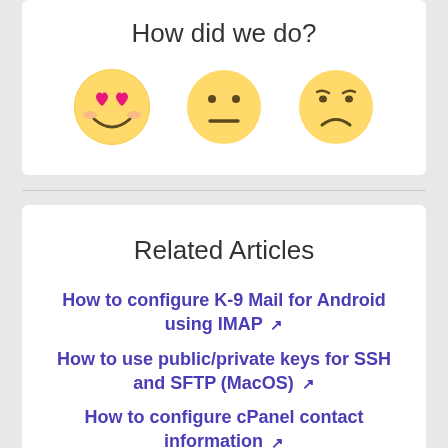How did we do?
[Figure (illustration): Three emoji faces: a heart-eyes smiley (happy), a neutral face, and a sad/frowning face, arranged horizontally as a feedback rating widget.]
Related Articles
How to configure K-9 Mail for Android using IMAP ↗
How to use public/private keys for SSH and SFTP (MacOS) ↗
How to configure cPanel contact information ↗